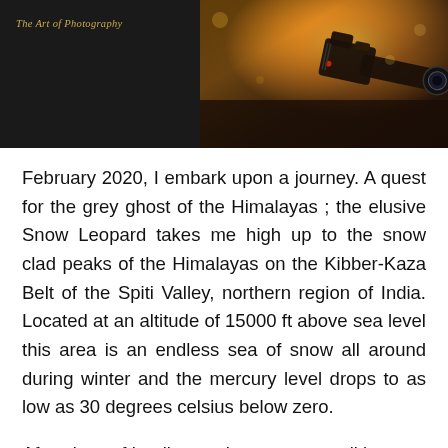[Figure (photo): Header image split in two: left half is a dark near-black panel with italic text 'The Art of Photography' in gold; right half is a warm golden-toned photograph of a camera pointed outward at sunset/golden hour.]
February 2020, I embark upon a journey. A quest for the grey ghost of the Himalayas ; the elusive Snow Leopard takes me high up to the snow clad peaks of the Himalayas on the Kibber-Kaza Belt of the Spiti Valley, northern region of India. Located at an altitude of 15000 ft above sea level this area is an endless sea of snow all around during winter and the mercury level drops to as low as 30 degrees celsius below zero.
After days of battling such extreme conditions we found no signs of the elusive predator. It was physically and mentally challenging – like the worst form of punishment, particularly the splitting headaches caused